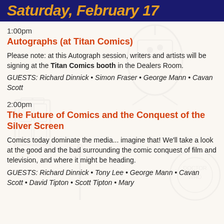Saturday, February 17
1:00pm
Autographs (at Titan Comics)
Please note: at this Autograph session, writers and artists will be signing at the Titan Comics booth in the Dealers Room.
GUESTS: Richard Dinnick • Simon Fraser • George Mann • Cavan Scott
2:00pm
The Future of Comics and the Conquest of the Silver Screen
Comics today dominate the media... imagine that! We'll take a look at the good and the bad surrounding the comic conquest of film and television, and where it might be heading.
GUESTS: Richard Dinnick • Tony Lee • George Mann • Cavan Scott • David Tipton • Scott Tipton • Mary